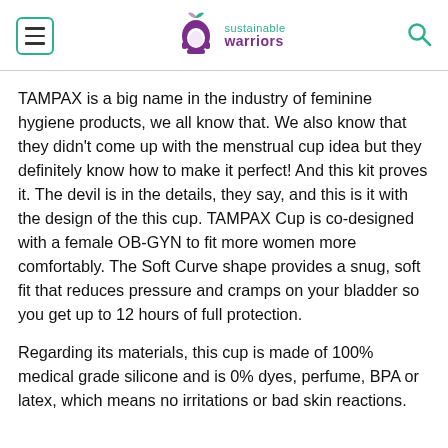sustainable warriors
TAMPAX is a big name in the industry of feminine hygiene products, we all know that. We also know that they didn't come up with the menstrual cup idea but they definitely know how to make it perfect! And this kit proves it. The devil is in the details, they say, and this is it with the design of the this cup. TAMPAX Cup is co-designed with a female OB-GYN to fit more women more comfortably. The Soft Curve shape provides a snug, soft fit that reduces pressure and cramps on your bladder so you get up to 12 hours of full protection.
Regarding its materials, this cup is made of 100% medical grade silicone and is 0% dyes, perfume, BPA or latex, which means no irritations or bad skin reactions.